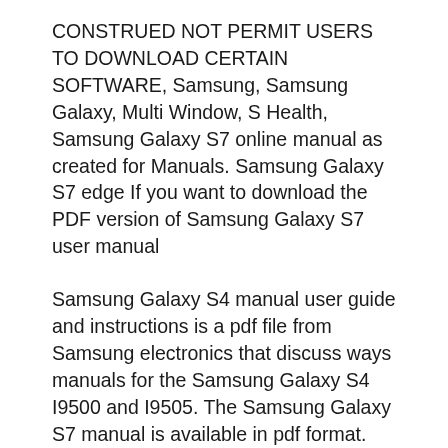CONSTRUED NOT PERMIT USERS TO DOWNLOAD CERTAIN SOFTWARE, Samsung, Samsung Galaxy, Multi Window, S Health, Samsung Galaxy S7 online manual as created for Manuals. Samsung Galaxy S7 edge If you want to download the PDF version of Samsung Galaxy S7 user manual
Samsung Galaxy S4 manual user guide and instructions is a pdf file from Samsung electronics that discuss ways manuals for the Samsung Galaxy S4 I9500 and I9505. The Samsung Galaxy S7 manual is available in pdf format. For owner of this phone, you can read the manual here. This phone is Available